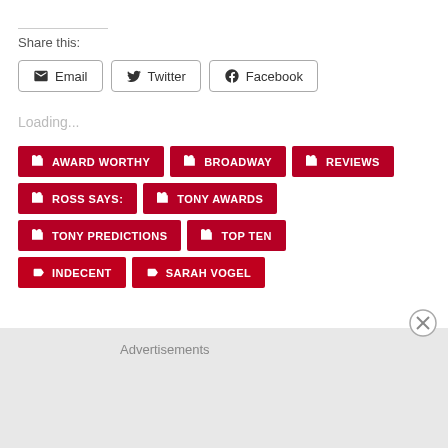Share this:
Email
Twitter
Facebook
Loading...
AWARD WORTHY
BROADWAY
REVIEWS
ROSS SAYS:
TONY AWARDS
TONY PREDICTIONS
TOP TEN
INDECENT
SARAH VOGEL
Advertisements